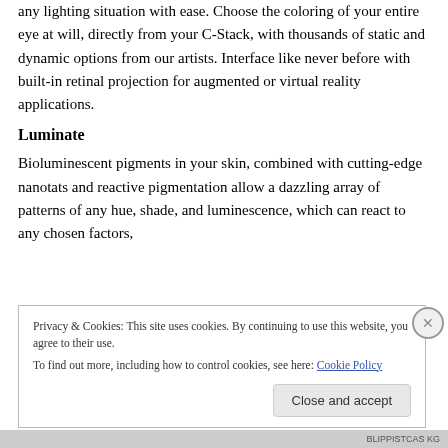any lighting situation with ease. Choose the coloring of your entire eye at will, directly from your C-Stack, with thousands of static and dynamic options from our artists. Interface like never before with built-in retinal projection for augmented or virtual reality applications.
Luminate
Bioluminescent pigments in your skin, combined with cutting-edge nanotats and reactive pigmentation allow a dazzling array of patterns of any hue, shade, and luminescence, which can react to any chosen factors,
Privacy & Cookies: This site uses cookies. By continuing to use this website, you agree to their use.
To find out more, including how to control cookies, see here: Cookie Policy
Close and accept